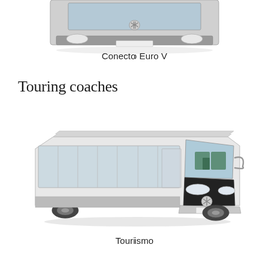[Figure (photo): Partial front view of a Mercedes-Benz Conecto Euro V city bus, cropped at top of page, silver/grey color]
Conecto Euro V
Touring coaches
[Figure (photo): Three-quarter front view of a Mercedes-Benz Tourismo touring coach, white with large windshield and black front fascia, showing interior seating with green upholstery]
Tourismo